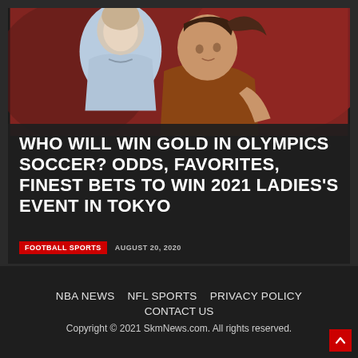[Figure (photo): Two female soccer players in action, one in brown/orange jersey, one in light blue/white jersey, with red blurred background]
WHO WILL WIN GOLD IN OLYMPICS SOCCER? ODDS, FAVORITES, FINEST BETS TO WIN 2021 LADIES'S EVENT IN TOKYO
FOOTBALL SPORTS   AUGUST 20, 2020
NBA NEWS   NFL SPORTS   PRIVACY POLICY   CONTACT US
Copyright © 2021 SkmNews.com. All rights reserved.